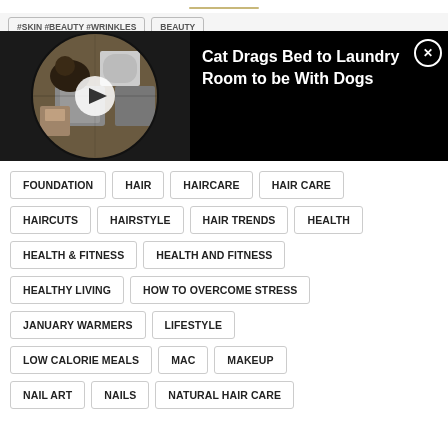[Figure (screenshot): Decorative top divider bar — gold/tan horizontal line]
[Figure (screenshot): Video overlay banner: fisheye/circular camera view of laundry room with cat, play button, black panel with title 'Cat Drags Bed to Laundry Room to be With Dogs' and close X button]
#SKIN #BEAUTY #WRINKLES
BEAUTY
FOUNDATION
HAIR
HAIRCARE
HAIR CARE
HAIRCUTS
HAIRSTYLE
HAIR TRENDS
HEALTH
HEALTH & FITNESS
HEALTH AND FITNESS
HEALTHY LIVING
HOW TO OVERCOME STRESS
JANUARY WARMERS
LIFESTYLE
LOW CALORIE MEALS
MAC
MAKEUP
NAIL ART
NAILS
NATURAL HAIR CARE